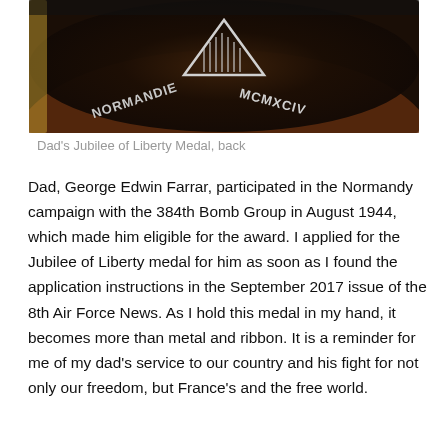[Figure (photo): Close-up photo of the back of a medal showing text 'NORMANDIE MCMXCIV' in raised silver letters on a dark circular surface with a triangular design]
Dad's Jubilee of Liberty Medal, back
Dad, George Edwin Farrar, participated in the Normandy campaign with the 384th Bomb Group in August 1944, which made him eligible for the award. I applied for the Jubilee of Liberty medal for him as soon as I found the application instructions in the September 2017 issue of the 8th Air Force News. As I hold this medal in my hand, it becomes more than metal and ribbon. It is a reminder for me of my dad's service to our country and his fight for not only our freedom, but France's and the free world.